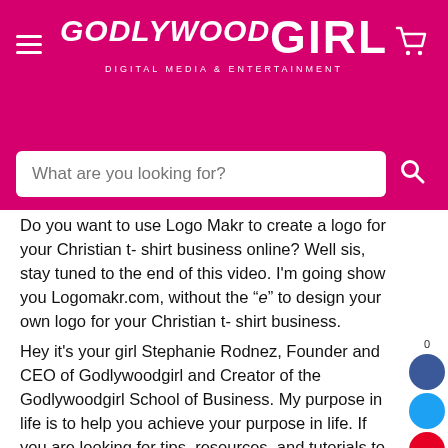GODLYWOOD GIRL - DIGITAL MEDIA & ENTERTAINMENT
Do you want to use Logo Makr to create a logo for your Christian t- shirt business online? Well sis, stay tuned to the end of this video. I'm going show you Logomakr.com, without the "e" to design your own logo for your Christian t- shirt business.
Hey it's your girl Stephanie Rodnez, Founder and CEO of Godlywoodgirl and Creator of the Godlywoodgirl School of Business. My purpose in life is to help you achieve your purpose in life. If you are looking for tips, resources, and tutorials to help you live your God- given purpose as a Christian entrepreneur, make sure you hit the subscribe button to subscribe to the Godlywoodgirl YouTube channel for that's what we do here sis! Grab your pen and paper and let's dive in to how to use